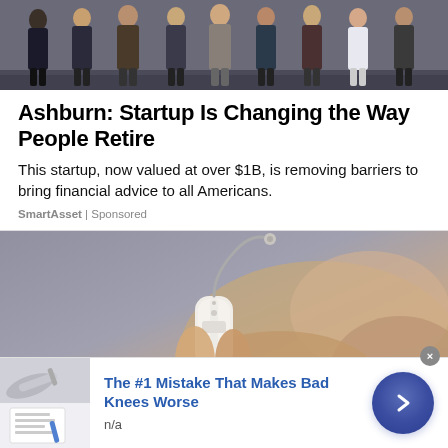[Figure (photo): Group of people standing together, photo of a startup team]
Ashburn: Startup Is Changing the Way People Retire
This startup, now valued at over $1B, is removing barriers to bring financial advice to all Americans.
SmartAsset | Sponsored
[Figure (photo): Close-up of a hand holding a hearing aid device]
[Figure (photo): Ad banner thumbnail showing documents/papers]
The #1 Mistake That Makes Bad Knees Worse
n/a